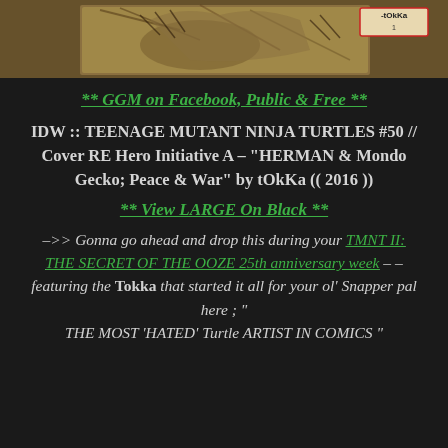[Figure (illustration): Top portion of a comic/artwork image showing a creature labeled 'Tokka', with sketchy colorful art style on a tan/brown background]
** GGM on Facebook, Public & Free **
IDW :: TEENAGE MUTANT NINJA TURTLES #50 // Cover RE Hero Initiative A – "HERMAN & Mondo Gecko; Peace & War" by tOkKa (( 2016 ))
** View LARGE On Black **
–>> Gonna go ahead and drop this during your TMNT II: THE SECRET OF THE OOZE 25th anniversary week – – featuring the Tokka that started it all for your ol' Snapper pal here ; " THE MOST 'HATED' Turtle ARTIST IN COMICS "